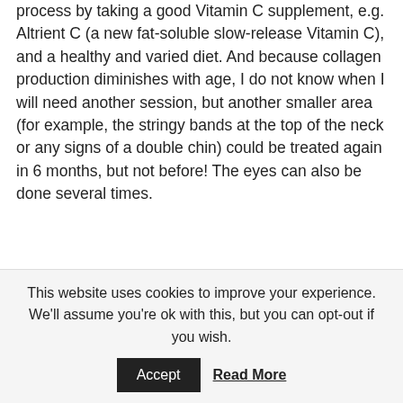process by taking a good Vitamin C supplement, e.g. Altrient C (a new fat-soluble slow-release Vitamin C), and a healthy and varied diet. And because collagen production diminishes with age, I do not know when I will need another session, but another smaller area (for example, the stringy bands at the top of the neck or any signs of a double chin) could be treated again in 6 months, but not before! The eyes can also be done several times.
This website uses cookies to improve your experience. We'll assume you're ok with this, but you can opt-out if you wish.